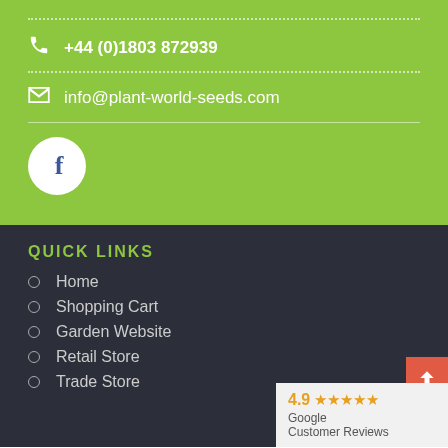+44 (0)1803 872939
info@plant-world-seeds.com
[Figure (logo): Facebook logo circle button (white circle with dark blue 'f' letter)]
QUICK LINKS
Home
Shopping Cart
Garden Website
Retail Store
Trade Store
[Figure (other): Google Customer Reviews badge showing 4.9 stars rating]